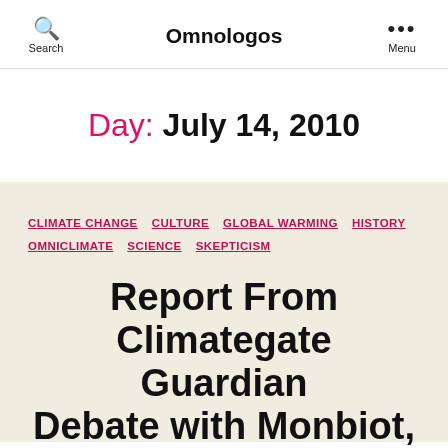Search   Omnologos   Menu
Day: July 14, 2010
CLIMATE CHANGE  CULTURE  GLOBAL WARMING  HISTORY  OMNICLIMATE  SCIENCE  SKEPTICISM
Report From Climategate Guardian Debate with Monbiot, McIntyre, Pearce,